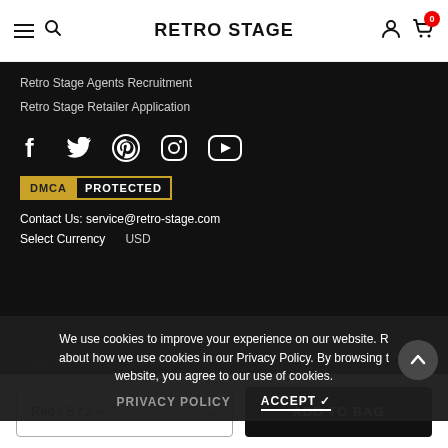RETRO STAGE
Retro Stage Agents Recruitment
Retro Stage Retailer Application
[Figure (infographic): Social media icons: Facebook, Twitter, Pinterest, Instagram, YouTube]
[Figure (logo): DMCA PROTECTED badge]
Contact Us: service@retro-stage.com
Select Currency   USD
We use cookies to improve your experience on our website. Read about how we use cookies in our Privacy Policy. By browsing this website, you agree to our use of cookies.
PRIVACY POLICY   ACCEPT ✓
© 2022 Retrostage. All rights reserved.
Red / S / 2 –
ADD TO BAG